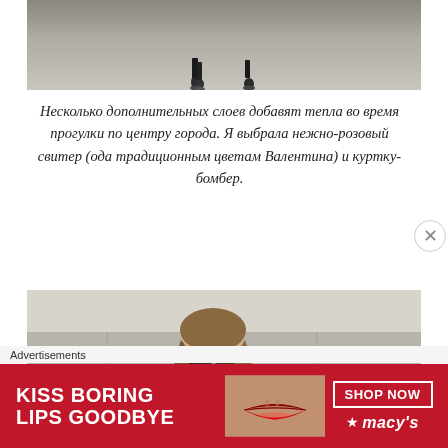[Figure (photo): Top portion of a photo showing two pairs of feet/shoes on a concrete/stone pavement surface]
Несколько дополнительных слоев добавят тепла во время прогулки по центру города. Я выбрала нежно-розовый свитер (ода традиционным цветам Валентина) и куртку-бомбер.
[Figure (photo): A woman with long hair wearing sunglasses and a black glossy bomber jacket, standing in front of a stone/concrete wall]
Advertisements
[Figure (other): Macy's advertisement banner - KISS BORING LIPS GOODBYE with red lips image and SHOP NOW button and Macy's star logo]